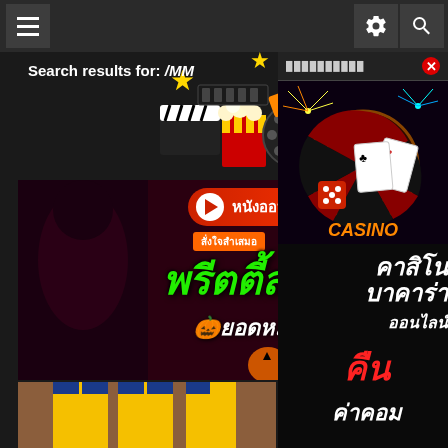[Figure (screenshot): Website navigation bar with hamburger menu icon on left and settings/search icons on right, dark background]
Search results for: /MM
[Figure (illustration): Movie/cinema themed logo with popcorn, film reel, clapperboard, ticket and stars]
[Figure (photo): Thai adult entertainment promotional banner with Thai text reading 'หนังออนไลน์ล่าสุด' (Latest online movies), 'พรีตตี้สาวสวย' (Pretty beautiful girls), 'ยอดหมด ไม่มีติ๊ก' (No limits, no restrictions), featuring Halloween pumpkins and women in costumes]
[Figure (photo): Casino promotional banner on right side showing playing cards, roulette, dice with CASINO text and fireworks]
[Figure (photo): Thai casino/baccarat advertisement with Thai text 'คาสิโน บาคาร่า ออนไลน์ คืน ค่าคอม' on black background]
[Figure (photo): Bottom left thumbnail showing cheerleaders in yellow Michigan uniforms with text 'The...' at bottom]
[Figure (photo): Bottom center thumbnail showing close-up of eyes on black and white background with text 'Dont...since...']